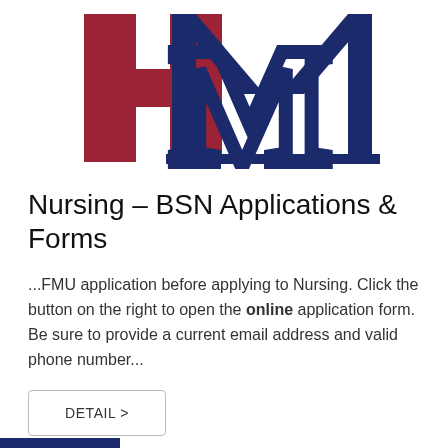[Figure (logo): FMU logo with overlapping red H and navy blue M letters]
Nursing – BSN Applications & Forms
...FMU application before applying to Nursing. Click the button on the right to open the online application form. Be sure to provide a current email address and valid phone number...
DETAIL >